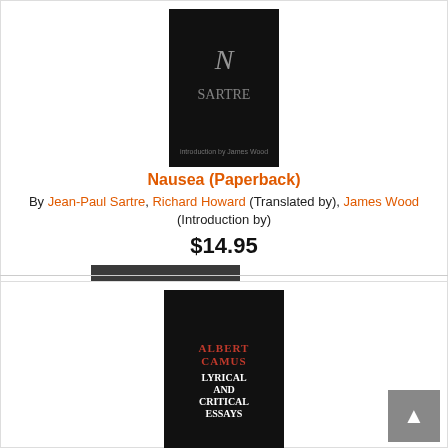[Figure (photo): Book cover of Nausea by Jean-Paul Sartre, dark background with stylized text]
Nausea (Paperback)
By Jean-Paul Sartre, Richard Howard (Translated by), James Wood (Introduction by)
$14.95
ADD TO CART
Add to Wish List
Usually Available in 1-5 Days, supply chain issues may affect these times
[Figure (photo): Book cover of Lyrical and Critical Essays (Vintage International) by Albert Camus, black cover with red and white text]
Lyrical and Critical Essays (Vintage International) (Paperback)
By Albert Camus